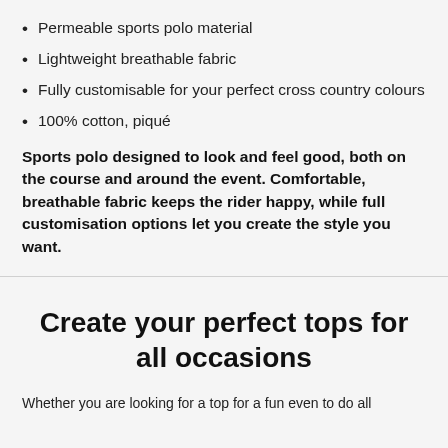Permeable sports polo material
Lightweight breathable fabric
Fully customisable for your perfect cross country colours
100% cotton, piqué
Sports polo designed to look and feel good, both on the course and around the event. Comfortable, breathable fabric keeps the rider happy, while full customisation options let you create the style you want.
Create your perfect tops for all occasions
Whether you are looking for a top for a fun even to do all